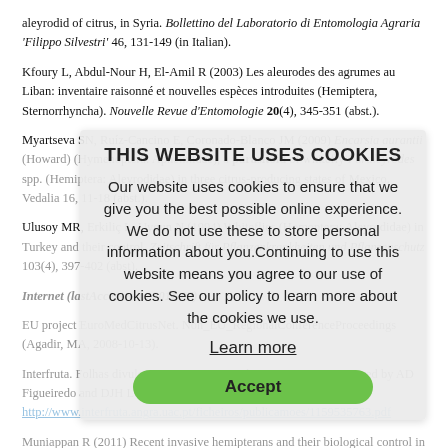aleyrodid of citrus, in Syria. Bollettino del Laboratorio di Entomologia Agraria 'Filippo Silvestri' 46, 131-149 (in Italian).
Kfoury L, Abdul-Nour H, El-Amil R (2003) Les aleurodes des agrumes au Liban: inventaire raisonné et nouvelles espèces introduites (Hemiptera, Sternorrhyncha). Nouvelle Revue d'Entomologie 20(4), 345-351 (abst.).
Myartseva SN, Ruíz-Cancino E, Coronado-Blanco JM (2009) Encarsia aurantii (Howard) (Hymenoptera: Aphelinidae), a parasitoid of whitefly Paraleyrodes spp. (Hemiptera: Aleyrodidae) in three citrus-producing states of Mexico. Vedalia 16, 11-18 (abst.).
Ulusoy MR, Erkiliç L, Uygun N (1994) Whiteflies (Homoptera: Aleyrodidae) in Turkey and their control. Zeitschrift für Pflanzenkrankheiten und Pflanzenschutz 103(4), 397-402 (abst).
Internet (lastAccessed in 2011-07)
EU project EuroMedCitrusNet. Non_EU_RegionalConferenceProceedings (Agadir, MA, 2008-10-13).
Interfruta. Folhas divulgativas. Laranjeira. Série Pragas no. 1. Prepared by AD Figueiredo and DJH Lopes (June 2005). http://www.interfruta.angra.uac.pt/ficheiros/publicamoes/1159535763.pdf
Muniappan R (2011) Recent invasive hemipterans and their biological control in Asia. Paper presented at the 5th Meeting of the Asian Cotton Research & Development Network (Lahore, PK, 2011-02-